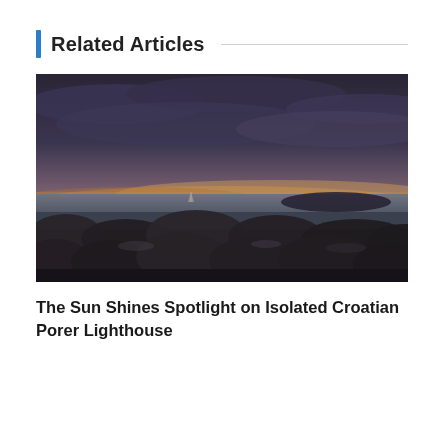Related Articles
[Figure (photo): Dark moody coastal seascape at dusk/sunset. Rocky foreground with large boulders, calm sea in the middle ground with a distant sailboat on the horizon, and an island silhouette to the right. Dramatic cloudy sky with warm orange and golden hues near the horizon blending into dark grey-purple overhead.]
The Sun Shines Spotlight on Isolated Croatian Porer Lighthouse